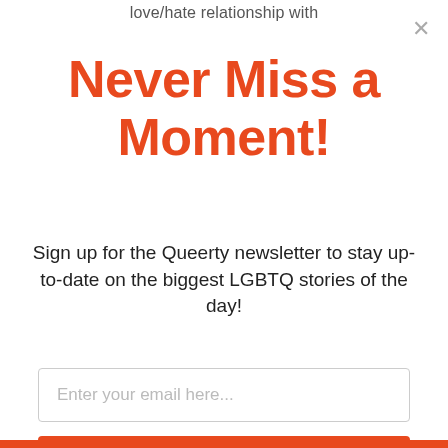love/hate relationship with
Never Miss a Moment!
Sign up for the Queerty newsletter to stay up-to-date on the biggest LGBTQ stories of the day!
Enter your email here...
Sign Up